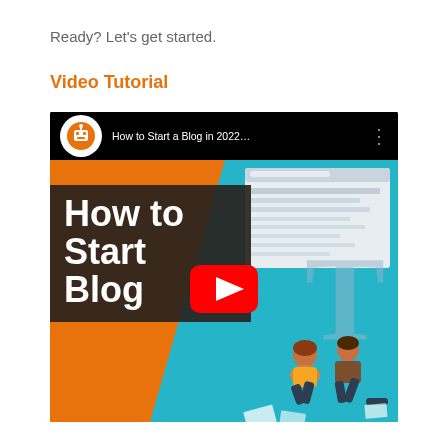Ready? Let's get started.
Video Tutorial
[Figure (screenshot): YouTube video thumbnail for 'How to Start a Blog in 2022...' by WPBeginner. Shows a dark background YouTube top bar with the WPBeginner orange robot logo, video title, and three-dot menu. The thumbnail features an orange and teal background with large white bold text 'How to Start Blog' on a dark semi-transparent box, a YouTube play button in the center, a large letter T on the right, two illustrated people sitting, and scattered paper illustrations.]